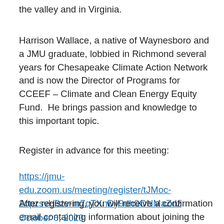the valley and in Virginia.
Harrison Wallace, a native of Waynesboro and a JMU graduate, lobbied in Richmond several years for Chesapeake Climate Action Network and is now the Director of Programs for CCEEF – Climate and Clean Energy Equity Fund.  He brings passion and knowledge to this important topic.
Register in advance for this meeting:
https://jmu-edu.zoom.us/meeting/register/tJMoc-2opzsvH9zv-m7qTXnDy9dh0ONMaZdz
After registering, you will receive a confirmation email containing information about joining the meeting.
October 6, 2020